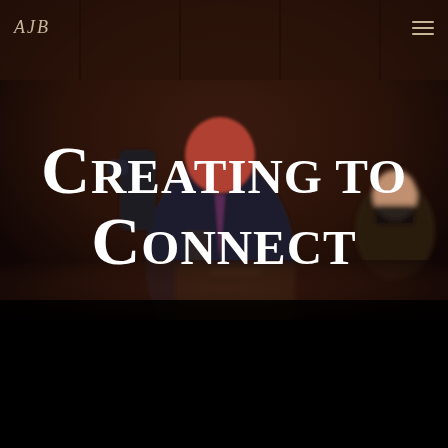[Figure (photo): Background photo of a man in a dark suit speaking at a podium or holding something, in a formal setting with dark wooden paneling. A woman in a mask is visible on the right. The image is dark and slightly blurred.]
AJB
Creating to Connect